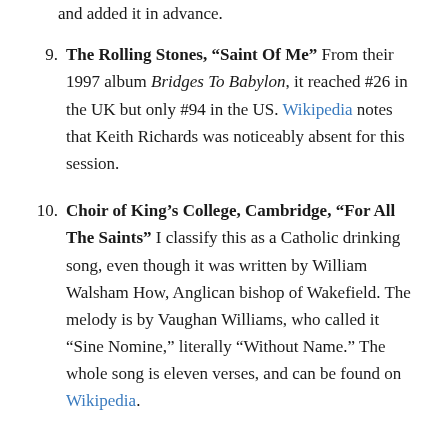and added it in advance.
9. The Rolling Stones, "Saint Of Me" From their 1997 album Bridges To Babylon, it reached #26 in the UK but only #94 in the US. Wikipedia notes that Keith Richards was noticeably absent for this session.
10. Choir of King's College, Cambridge, "For All The Saints" I classify this as a Catholic drinking song, even though it was written by William Walsham How, Anglican bishop of Wakefield. The melody is by Vaughan Williams, who called it “Sine Nomine,” literally “Without Name.” The whole song is eleven verses, and can be found on Wikipedia.